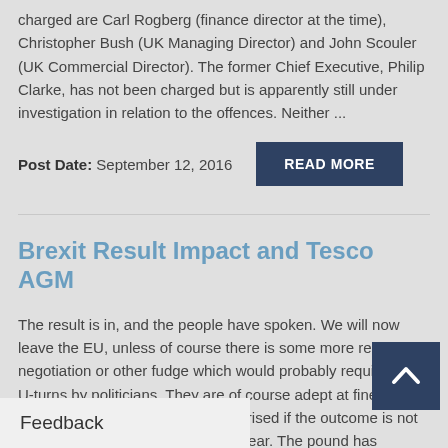charged are Carl Rogberg (finance director at the time), Christopher Bush (UK Managing Director) and John Scouler (UK Commercial Director). The former Chief Executive, Philip Clarke, has not been charged but is apparently still under investigation in relation to the offences. Neither ...
Post Date: September 12, 2016
READ MORE
Brexit Result Impact and Tesco AGM
The result is in, and the people have spoken. We will now leave the EU, unless of course there is some more re-negotiation or other fudge which would probably require some U-turns by politicians. They are of course adept at finessing such manoeuvres so don't be surprised if the outcome is not quite as simple as it might first appear. The pound has already fallen substantially (I am writing this just before the stock market opened). Is that a disaster? Not quite ...
Feedback